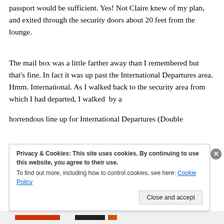passport would be sufficient. Yes! Not Claire knew of my plan, and exited through the security doors about 20 feet from the lounge.
The mail box was a little farther away than I remembered but that's fine. In fact it was up past the International Departures area. Hmm. International. As I walked back to the security area from which I had departed, I walked  by a horrendous line up for International Departures (Double
Privacy & Cookies: This site uses cookies. By continuing to use this website, you agree to their use.
To find out more, including how to control cookies, see here: Cookie Policy
Close and accept